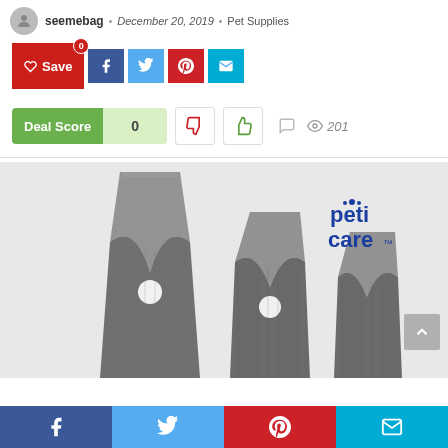seemebag • December 20, 2019 • Pet Supplies
[Figure (screenshot): Social share buttons row: Save (red), Facebook (dark blue), Twitter (light blue), Pinterest (red), Email (cyan)]
[Figure (infographic): Deal Score: 0, thumbs down, thumbs up vote buttons, comment icon, 201 views]
[Figure (photo): Product photo of metallic pet nail clippers/grooming tool with peti care logo overlay]
[Figure (screenshot): Bottom navigation bar with Facebook, Twitter, Pinterest, Email icons]